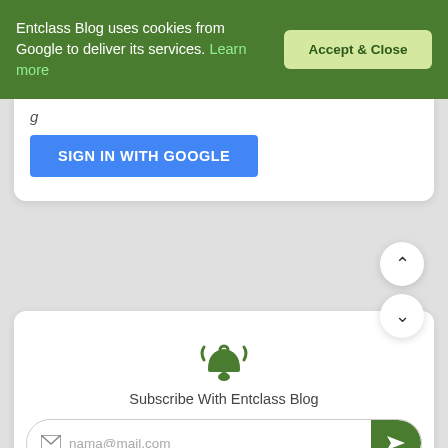[Figure (screenshot): Cookie consent banner: green background with text 'Entclass Blog uses cookies from Google to deliver its services. Learn more' and an 'Accept & Close' button]
Entclass Blog uses cookies from Google to deliver its services. Learn more
Accept & Close
[Figure (screenshot): SIGN IN WITH GOOGLE blue button]
SIGN IN WITH GOOGLE
[Figure (screenshot): Subscribe widget with bell icon, email input field showing 'nama@mail.com', and social media icons for Facebook, Twitter, Telegram, YouTube]
Subscribe With Entclass Blog
nama@mail.com